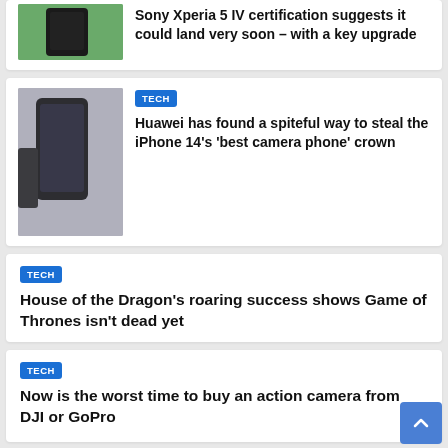[Figure (photo): Partial top card with phone image (Sony Xperia 5 IV) — cropped at top]
Sony Xperia 5 IV certification suggests it could land very soon – with a key upgrade
[Figure (photo): Huawei phone camera photo]
TECH
Huawei has found a spiteful way to steal the iPhone 14's 'best camera phone' crown
TECH
House of the Dragon's roaring success shows Game of Thrones isn't dead yet
TECH
Now is the worst time to buy an action camera from DJI or GoPro